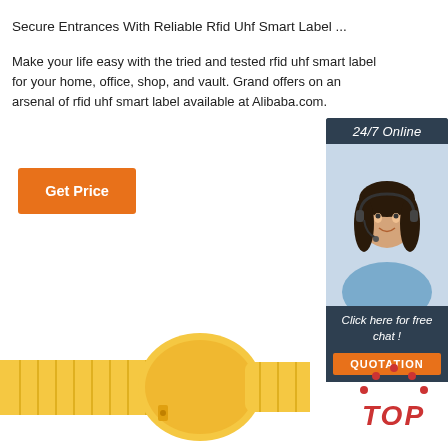Secure Entrances With Reliable Rfid Uhf Smart Label ...
Make your life easy with the tried and tested rfid uhf smart label for your home, office, shop, and vault. Grand offers on an arsenal of rfid uhf smart label available at Alibaba.com.
[Figure (infographic): Sidebar widget with '24/7 Online' header, photo of a female customer service representative with headset, 'Click here for free chat!' text, and an orange QUOTATION button on dark blue background.]
Get Price
[Figure (photo): Yellow RFID wristband with ribbed strap and oval RFID disc, photographed on white background.]
[Figure (logo): TOP logo with red dots arranged in arch above the word TOP in red italic text.]